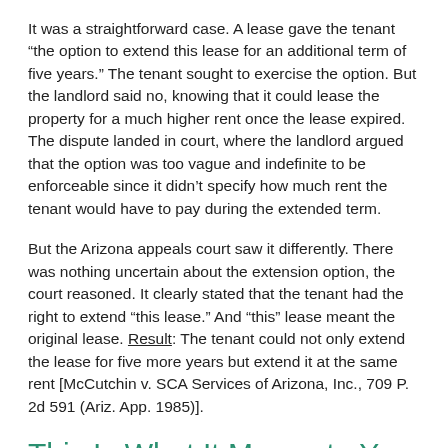It was a straightforward case. A lease gave the tenant “the option to extend this lease for an additional term of five years.” The tenant sought to exercise the option. But the landlord said no, knowing that it could lease the property for a much higher rent once the lease expired. The dispute landed in court, where the landlord argued that the option was too vague and indefinite to be enforceable since it didn’t specify how much rent the tenant would have to pay during the extended term.
But the Arizona appeals court saw it differently. There was nothing uncertain about the extension option, the court reasoned. It clearly stated that the tenant had the right to extend “this lease.” And “this” lease meant the original lease. Result: The tenant could not only extend the lease for five more years but extend it at the same rent [McCutchin v. SCA Services of Arizona, Inc., 709 P. 2d 591 (Ariz. App. 1985)].
This Is What It Means to You